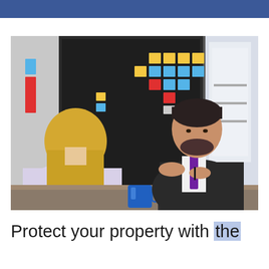[Figure (photo): Two business professionals having a meeting in a modern office. A woman with blonde hair sits with her back to the camera, while a man in a dark suit with a purple tie gestures with his hands. Behind them is a dark wall covered with colorful sticky notes in yellow, blue, red, and orange arranged in a grid pattern. A blue coffee mug and laptop are on the table.]
Protect your property with the